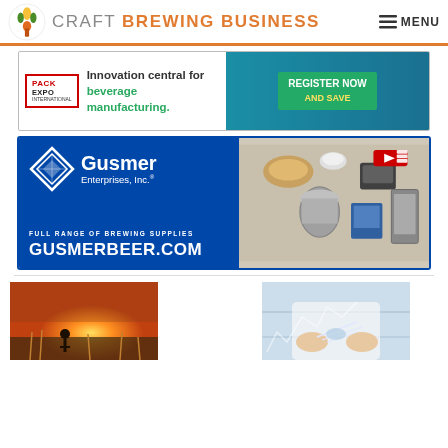CRAFT BREWING BUSINESS | MENU
[Figure (screenshot): Pack Expo International banner ad: 'Innovation central for beverage manufacturing. REGISTER NOW AND SAVE']
[Figure (screenshot): Gusmer Enterprises Inc. banner ad: 'Full range of brewing supplies. GUSMERBEER.COM' with logo and product images]
[Figure (photo): Person silhouetted in a field at sunset]
[Figure (photo): Person in white coat holding something, lab/science setting]